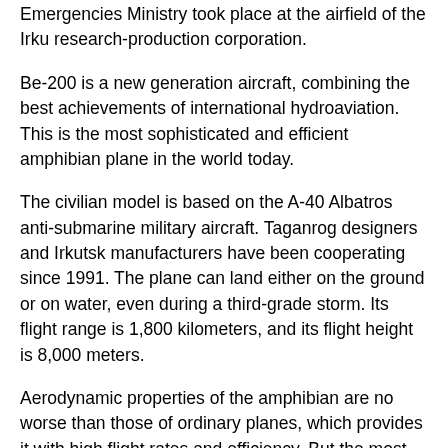Emergencies Ministry took place at the airfield of the Irku research-production corporation.
Be-200 is a new generation aircraft, combining the best achievements of international hydroaviation. This is the most sophisticated and efficient amphibian plane in the world today.
The civilian model is based on the A-40 Albatros anti-submarine military aircraft. Taganrog designers and Irkutsk manufacturers have been cooperating since 1991. The plane can land either on the ground or on water, even during a third-grade storm. Its flight range is 1,800 kilometers, and its flight height is 8,000 meters.
Aerodynamic properties of the amphibian are no worse than those of ordinary planes, which provides it with high flight rates and efficiency. But the most striking fact is that Be-200 is able to take 12 tons of water in the gliding regime for only 12-14 seconds at the speed of 150-190 kilometers per hour; then it